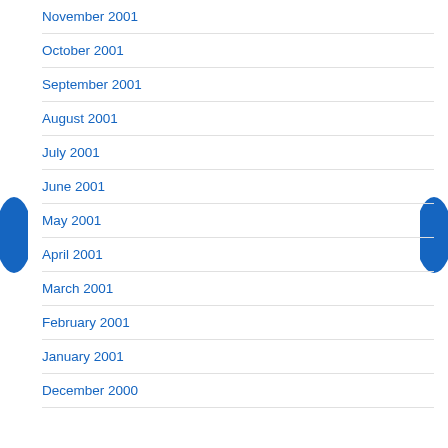November 2001
October 2001
September 2001
August 2001
July 2001
June 2001
May 2001
April 2001
March 2001
February 2001
January 2001
December 2000